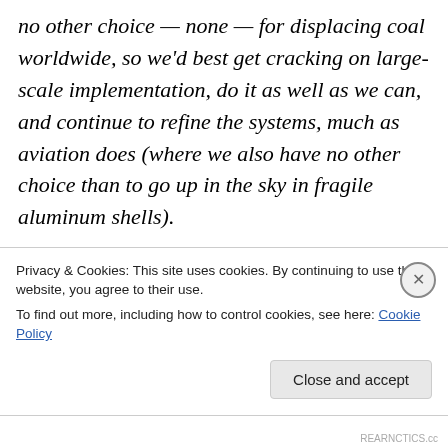no other choice — none — for displacing coal worldwide, so we'd best get cracking on large-scale implementation, do it as well as we can, and continue to refine the systems, much as aviation does (where we also have no other choice than to go up in the sky in fragile aluminum shells).
I agree.
However, I hear this sentiment repeated frequently in posts and comments on RNC, but
Privacy & Cookies: This site uses cookies. By continuing to use this website, you agree to their use.
To find out more, including how to control cookies, see here: Cookie Policy
REARNCTICS.cc